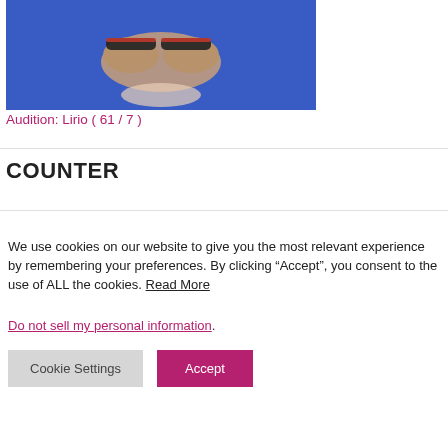[Figure (photo): A photo showing two hands bound together with leather and red-trimmed wrist restraints, lying on a blue fabric surface, with another person's hand visible below.]
Audition: Lirio ( 61 / 7 )
COUNTER
We use cookies on our website to give you the most relevant experience by remembering your preferences. By clicking “Accept”, you consent to the use of ALL the cookies. Read More
Do not sell my personal information.
Cookie Settings    Accept